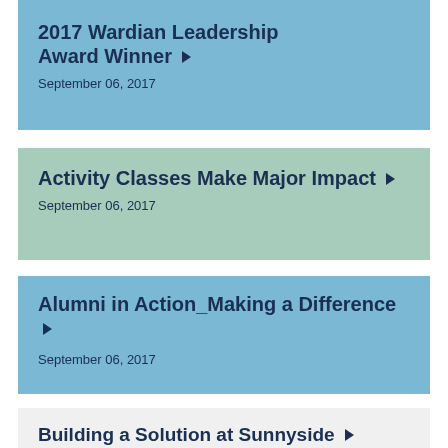2017 Wardian Leadership Award Winner ▶
September 06, 2017
Activity Classes Make Major Impact ▶
September 06, 2017
Alumni in Action_Making a Difference ▶
September 06, 2017
Building a Solution at Sunnyside ▶
September 06, 2017